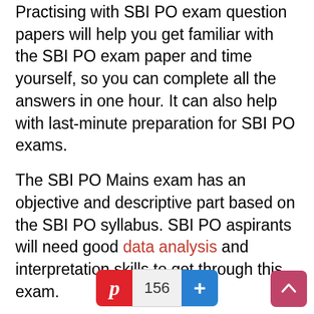Practising with SBI PO exam question papers will help you get familiar with the SBI PO exam paper and time yourself, so you can complete all the answers in one hour. It can also help with last-minute preparation for SBI PO exams.
The SBI PO Mains exam has an objective and descriptive part based on the SBI PO syllabus. SBI PO aspirants will need good data analysis and interpretation skills to get through this exam.
The SBI PO Mains exam has 4 sections of 50 marks each, including the subjects below:
English Language
Data Analysis & Interpretation